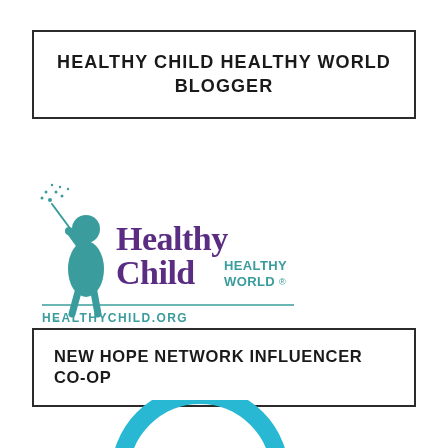HEALTHY CHILD HEALTHY WORLD BLOGGER
[Figure (logo): Healthy Child Healthy World logo with teal silhouette of a child blowing dandelion seeds, purple and teal text reading 'Healthy Child HEALTHY WORLD®', a teal horizontal rule, and the URL HEALTHYCHILD.ORG below]
NEW HOPE NETWORK INFLUENCER CO-OP
[Figure (logo): Partial arc/circle logo in cyan/teal color at bottom of page, partially cropped]